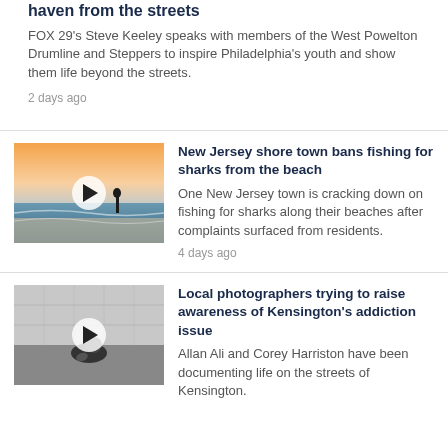haven from the streets
FOX 29's Steve Keeley speaks with members of the West Powelton Drumline and Steppers to inspire Philadelphia's youth and show them life beyond the streets.
2 days ago
[Figure (photo): A person standing on a beach at sunset/dusk with ocean waves]
New Jersey shore town bans fishing for sharks from the beach
One New Jersey town is cracking down on fishing for sharks along their beaches after complaints surfaced from residents.
4 days ago
[Figure (photo): Black and white photo of a person crouched or collapsed on the ground, Kensington addiction documentation]
Local photographers trying to raise awareness of Kensington's addiction issue
Allan Ali and Corey Harriston have been documenting life on the streets of Kensington.